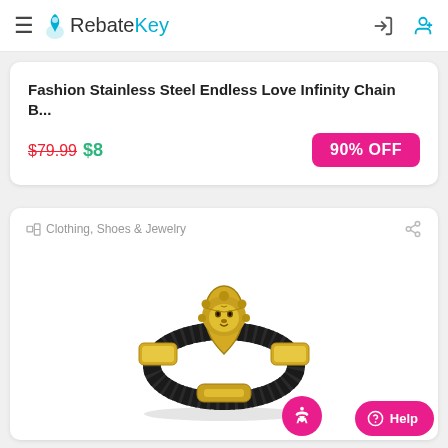RebateKey
Fashion Stainless Steel Endless Love Infinity Chain B...
$79.99 $8
90% OFF
Clothing, Shoes & Jewelry
[Figure (photo): Gold lion head bracelet with black leather band on white background]